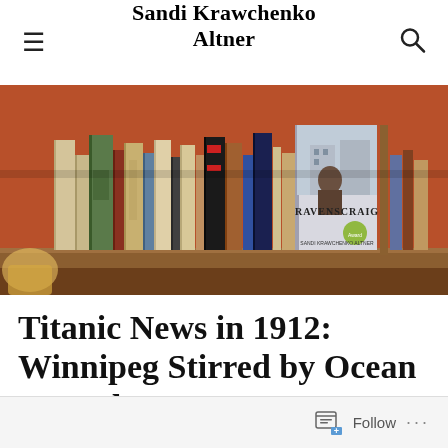Sandi Krawchenko Altner
[Figure (photo): A wooden bookshelf filled with various books, including a prominently displayed copy of 'Ravenscraig' by Sandi Krawchenko Altner on the right side.]
Titanic News in 1912: Winnipeg Stirred by Ocean Tragedy
Follow ...